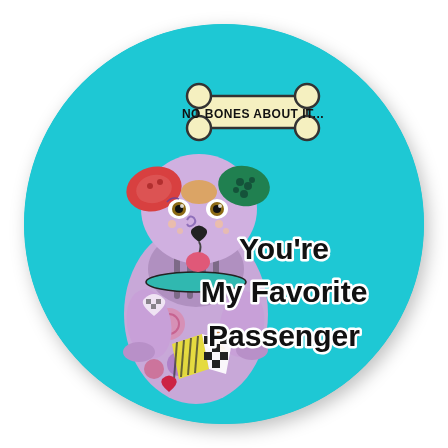[Figure (illustration): A circular button/magnet with a turquoise background. Features a colorful folk-art style illustrated dog (pit bull type) with a patterned multicolor body in pinks, purples, and blues, red and teal ears, holding a heart. Above the dog is a dog-bone shape containing the text 'NO BONES ABOUT IT...' in black uppercase letters. To the right of the dog, in large black handwritten-style font with white outline: 'You're My Favorite Passenger'.]